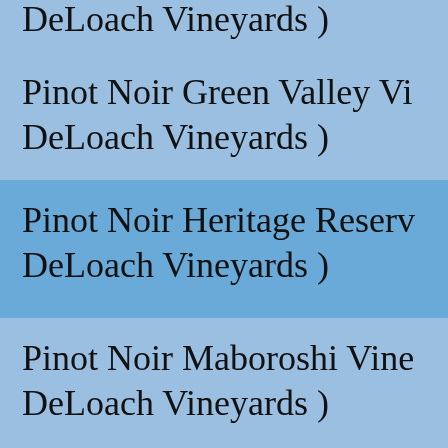DeLoach Vineyards )
Pinot Noir Green Valley Vi… DeLoach Vineyards )
Pinot Noir Heritage Reserv… DeLoach Vineyards )
Pinot Noir Maboroshi Vine… DeLoach Vineyards )
Pinot Noir Ma… (partial)